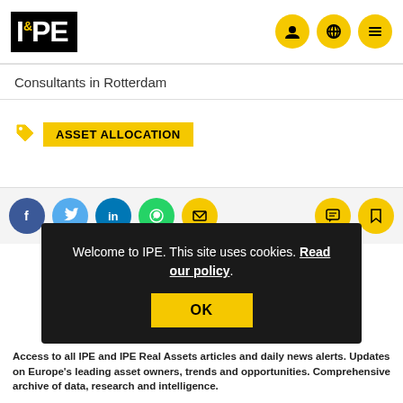IPE
Consultants in Rotterdam
ASSET ALLOCATION
[Figure (screenshot): Social sharing icons: Facebook (dark blue), Twitter (light blue), LinkedIn (blue), WhatsApp (green), Email (yellow), and on right: Comment (yellow), Bookmark (yellow)]
Welcome to IPE. This site uses cookies. Read our policy.
OK
Access to all IPE and IPE Real Assets articles and daily news alerts. Updates on Europe's leading asset owners, trends and opportunities. Comprehensive archive of data, research and intelligence.